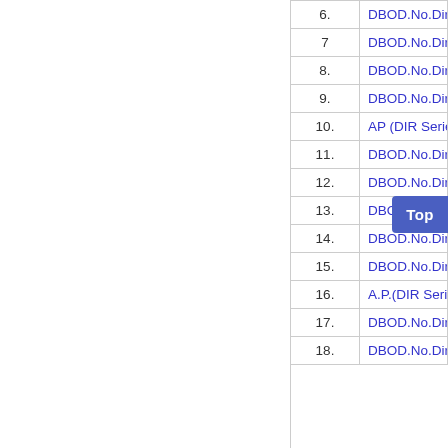| No. | Circular Reference |
| --- | --- |
| 6. | DBOD.No.Dir.BC.13... |
| 7 | DBOD.No.Dir.BC.30... |
| 8. | DBOD.No.Dir.BC.31... |
| 9. | DBOD.No.Dir.BC.12... |
| 10. | AP (DIR Series) Cir... |
| 11. | DBOD.No.Dir.BC.8/... |
| 12. | DBOD.No.Dir.BC.51... |
| 13. | DBOD.No.Dir.BC.22... |
| 14. | DBOD.No.Dir.BC.62... |
| 15. | DBOD.No.Dir.BC.75... |
| 16. | A.P.(DIR Series) Cir... |
| 17. | DBOD.No.Dir.BC.88... |
| 18. | DBOD.No.Dir.BC.89... |